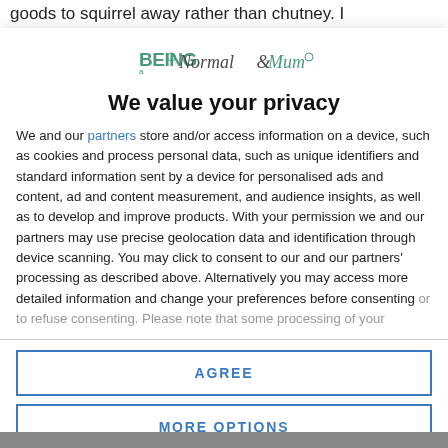goods to squirrel away rather than chutney. I
[Figure (logo): Being a Normal Mum logo with stylized text and icons]
We value your privacy
We and our partners store and/or access information on a device, such as cookies and process personal data, such as unique identifiers and standard information sent by a device for personalised ads and content, ad and content measurement, and audience insights, as well as to develop and improve products. With your permission we and our partners may use precise geolocation data and identification through device scanning. You may click to consent to our and our partners' processing as described above. Alternatively you may access more detailed information and change your preferences before consenting or to refuse consenting. Please note that some processing of your
AGREE
MORE OPTIONS